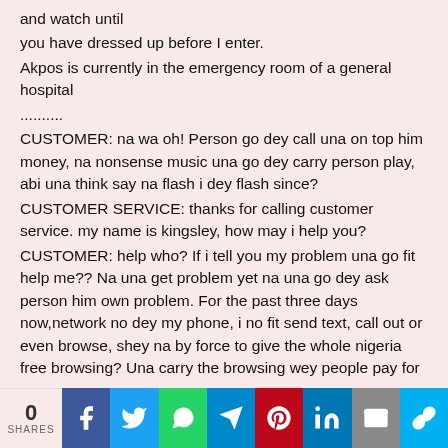and watch until you have dressed up before I enter. Akpos is currently in the emergency room of a general hospital
..........
CUSTOMER: na wa oh! Person go dey call una on top him money, na nonsense music una go dey carry person play, abi una think say na flash i dey flash since?
CUSTOMER SERVICE: thanks for calling customer service. my name is kingsley, how may i help you?
CUSTOMER: help who? If i tell you my problem una go fit help me?? Na una get problem yet na una go dey ask person him own problem. For the past three days now,network no dey my phone, i no fit send text, call out or even browse, shey na by force to give the whole nigeria free browsing? Una carry the browsing wey people pay for
0 SHARES | Facebook | Twitter | WhatsApp | Telegram | Pinterest | LinkedIn | Email | Copy